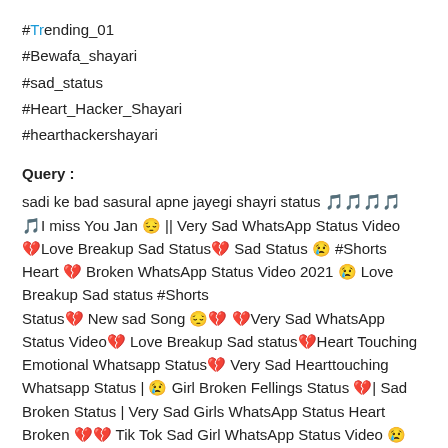#Trending_01
#Bewafa_shayari
#sad_status
#Heart_Hacker_Shayari
#hearthackershayari
Query :
sadi ke bad sasural apne jayegi shayri status 🎵🎵🎵🎵 🎵I miss You Jan 😔 || Very Sad WhatsApp Status Video
💔Love Breakup Sad Status💔 Sad Status 😢 #Shorts
Heart 💔 Broken WhatsApp Status Video 2021 😢 Love Breakup Sad status #Shorts
Status💔 New sad Song 😔💔 💔Very Sad WhatsApp Status Video💔 Love Breakup Sad status💔Heart Touching Emotional Whatsapp Status💔 Very Sad Hearttouching Whatsapp Status | 😢 Girl Broken Fellings Status 💔| Sad Broken Status | Very Sad Girls WhatsApp Status Heart Broken 💔💔 Tik Tok Sad Girl WhatsApp Status Video 😢